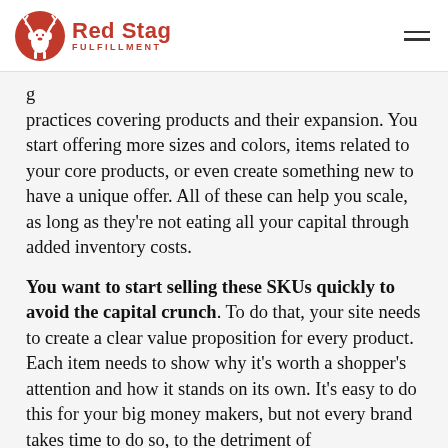Red Stag Fulfillment
g practices covering products and their expansion. You start offering more sizes and colors, items related to your core products, or even create something new to have a unique offer. All of these can help you scale, as long as they're not eating all your capital through added inventory costs.
You want to start selling these SKUs quickly to avoid the capital crunch. To do that, your site needs to create a clear value proposition for every product. Each item needs to show why it's worth a shopper's attention and how it stands on its own. It's easy to do this for your big money makers, but not every brand takes time to do so, to the detriment of